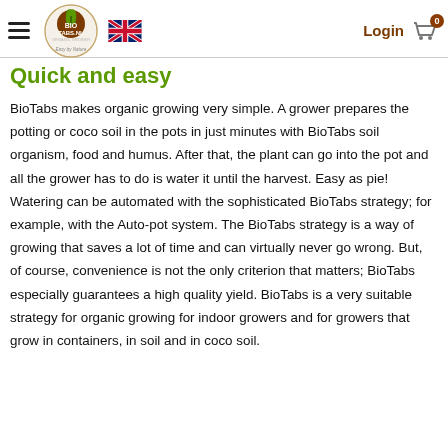BioTabs.nl — navigation bar with logo, UK flag, Login, and cart (0)
Quick and easy
BioTabs makes organic growing very simple. A grower prepares the potting or coco soil in the pots in just minutes with BioTabs soil organism, food and humus. After that, the plant can go into the pot and all the grower has to do is water it until the harvest. Easy as pie! Watering can be automated with the sophisticated BioTabs strategy; for example, with the Auto-pot system. The BioTabs strategy is a way of growing that saves a lot of time and can virtually never go wrong. But, of course, convenience is not the only criterion that matters; BioTabs especially guarantees a high quality yield. BioTabs is a very suitable strategy for organic growing for indoor growers and for growers that grow in containers, in soil and in coco soil.